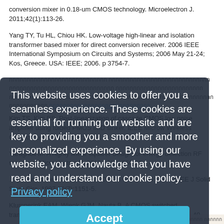conversion mixer in 0.18-um CMOS technology. Microelectron J. 2011;42(1):113-26.
Yang TY, Tu HL, Chiou HK. Low-voltage high-linear and isolation transformer based mixer for direct conversion receiver. 2006 IEEE International Symposium on Circuits and Systems; 2006 May 21-24; Kos, Greece. USA: IEEE; 2006. p 3754-7.
[Thai text block and link]
Kim TS, Kim BS. Post-linearization of cascade CMOS low noise amplifier using folded PMOS IMD sinker. IEEE Microw Wireless Compon Lett. 2006;16(4):102-4.
Yaragholi M. A highly linear squarer design for energy-detection RF receivers. Microelectron J. 2013;44(8): 658-62.
Salib... performance of a microwave CMOS Gilbert cell mixer. IEEE J Solid State Circ. 1997;32(7):1151-5.
Klumperink EAM, Wienk GJM, Nauta B. A CMOS switched transconductor mixer. IEEE J Solid State Circ. 2004;39(8):1231-40.
This website uses cookies to offer you a seamless experience. These cookies are essential for running our website and are key to providing you a smoother and more personalized experience. By using our website, you acknowledge that you have read and understand our cookie policy. Privacy policy